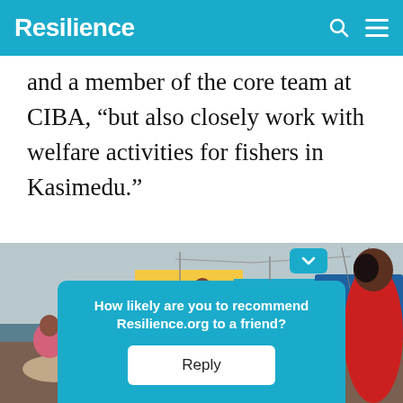Resilience
and a member of the core team at CIBA, “but also closely work with welfare activities for fishers in Kasimedu.”
[Figure (photo): Photo of women at a fishing harbor in Kasimedu, with fishing boats in the background. Several women in colorful saris are visible, some wearing masks, with fish and fishing equipment around them.]
How likely are you to recommend Resilience.org to a friend?
Reply